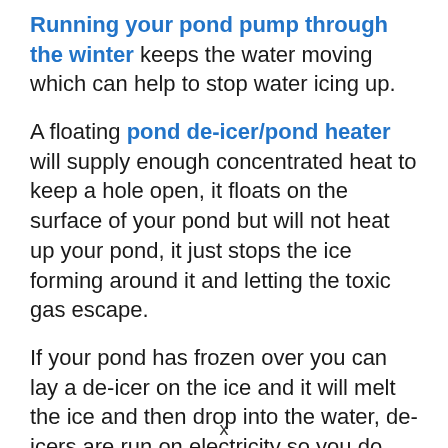Running your pond pump through the winter keeps the water moving which can help to stop water icing up.
A floating pond de-icer/pond heater will supply enough concentrated heat to keep a hole open, it floats on the surface of your pond but will not heat up your pond, it just stops the ice forming around it and letting the toxic gas escape.
If your pond has frozen over you can lay a de-icer on the ice and it will melt the ice and then drop into the water, de-icers are run on electricity so you do need a supply close by.
x